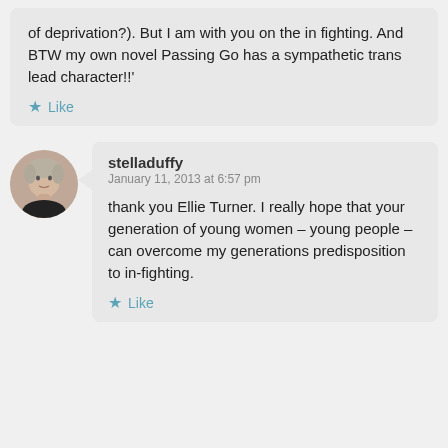of deprivation?). But I am with you on the in fighting. And BTW my own novel Passing Go has a sympathetic trans lead character!!'
Like
[Figure (photo): Circular avatar photo of a woman with short blonde hair against a light background]
stelladuffy
January 11, 2013 at 6:57 pm
thank you Ellie Turner. I really hope that your generation of young women – young people – can overcome my generations predisposition to in-fighting.
Like